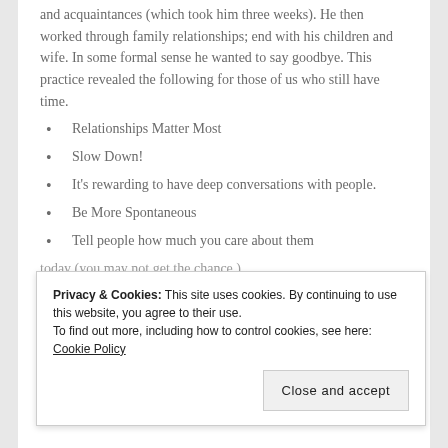and acquaintances (which took him three weeks). He then worked through family relationships; end with his children and wife. In some formal sense he wanted to say goodbye. This practice revealed the following for those of us who still have time.
Relationships Matter Most
Slow Down!
It's rewarding to have deep conversations with people.
Be More Spontaneous
Tell people how much you care about them today (you may not get the chance.)
Privacy & Cookies: This site uses cookies. By continuing to use this website, you agree to their use.
To find out more, including how to control cookies, see here: Cookie Policy